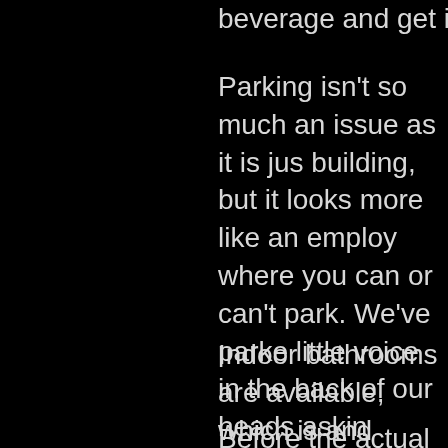beverage and get in line quick.
Parking isn't so much an issue as it is just finding the building, but it looks more like an employee parking area where you can or can't park. We've parked with a little voice in the back of our heads asking Adams St. which is the corner street right building or across the street, but there is for the few “no parking” signs and fire hy
Indoor bathrooms are available, which is and considerate of others when using the
Before the actual official starting point of detailed the rules of the attraction. I don't what you should and shouldn't do in a ha